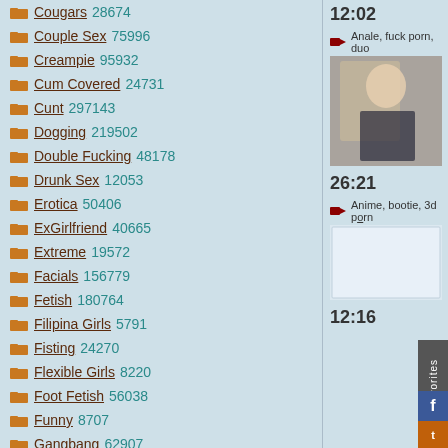Cougars 28674
Couple Sex 75996
Creampie 95932
Cum Covered 24731
Cunt 297143
Dogging 219502
Double Fucking 48178
Drunk Sex 12053
Erotica 50406
ExGirlfriend 40665
Extreme 19572
Facials 156779
Fetish 180764
Filipina Girls 5791
Fisting 24270
Flexible Girls 8220
Foot Fetish 56038
Funny 8707
Gangbang 62907
German Porno 73712
12:02
Anale, fuck porn, duo
[Figure (photo): Thumbnail of blonde woman]
26:21
Anime, bootie, 3d porn
[Figure (photo): Blank/light colored video thumbnail]
12:16